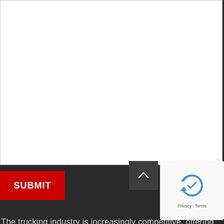[Figure (screenshot): White textarea input box at top of page]
SUBMIT
The trucking industry is increasingly competitive, offering professional truck drivers a significant benefit. But starting your trucking company can be challenging, primarily because of a growing driver shortage and digitalization. Here is a comprehensive guide on the trucking fleet, its challenges, and how managers can overcome them by employing truck fleet management software:
According to insightful research by the American Trucking